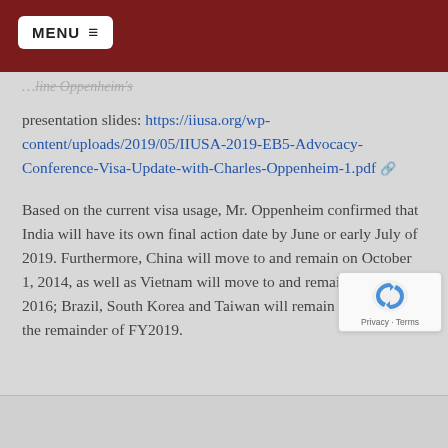MENU
presentation slides: https://iiusa.org/wp-content/uploads/2019/05/IIUSA-2019-EB5-Advocacy-Conference-Visa-Update-with-Charles-Oppenheim-1.pdf
Based on the current visa usage, Mr. Oppenheim confirmed that India will have its own final action date by June or early July of 2019. Furthermore, China will move to and remain on October 1, 2014, as well as Vietnam will move to and remain October 1, 2016; Brazil, South Korea and Taiwan will remain current for the remainder of FY2019.